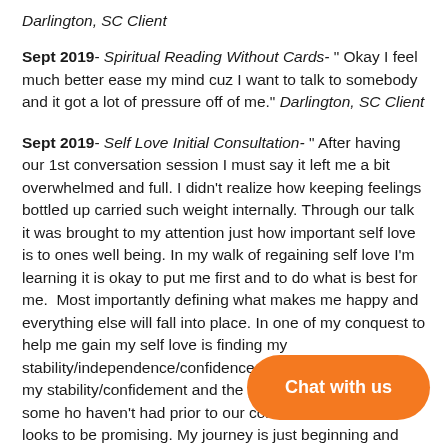Darlington, SC Client
Sept 2019- Spiritual Reading Without Cards- " Okay I feel much better ease my mind cuz I want to talk to somebody and it got a lot of pressure off of me." Darlington, SC Client
Sept 2019- Self Love Initial Consultation- " After having our 1st conversation session I must say it left me a bit overwhelmed and full. I didn't realize how keeping feelings bottled up carried such weight internally. Through our talk it was brought to my attention just how important self love is to ones well being. In my walk of regaining self love I'm learning it is okay to put me first and to do what is best for me.  Most importantly defining what makes me happy and everything else will fall into place. In one of my conquest to help me gain my self love is finding my stability/independence/confidence. On my quest to finding my stability/confidence/empowerment and the past few days I've had some hope that I haven't had prior to our conversation. I've found a job that looks to be promising. My journey is just beginning and